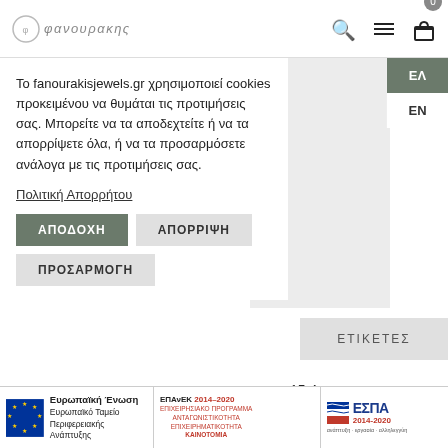φανουρακης
Το fanourakisjewels.gr χρησιμοποιεί cookies προκειμένου να θυμάται τις προτιμήσεις σας. Μπορείτε να τα αποδεχτείτε ή να τα απορρίψετε όλα, ή να τα προσαρμόσετε ανάλογα με τις προτιμήσεις σας.
Πολιτική Απορρήτου
ΑΠΟΔΟΧΗ
ΑΠΟΡΡΙΨΗ
ΠΡΟΣΑΡΜΟΓΗ
ΕΛ
EN
ΕΤΙΚΕΤΕΣ
15.4 g
2 × 1.5 mm
18
Χρυσό
[Figure (logo): EU structural funds footer: Ευρωπαϊκή Ένωση Ευρωπαϊκό Ταμείο Περιφερειακής Ανάπτυξης, ΕΠΑνΕΚ 2014-2020, ΕΣΠΑ 2014-2020]